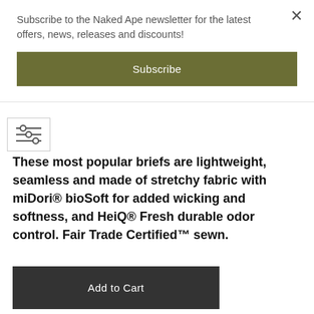Subscribe to the Naked Ape newsletter for the latest offers, news, releases and discounts!
Subscribe
[Figure (other): Filter/settings icon with three horizontal lines with circular sliders]
These most popular briefs are lightweight, seamless and made of stretchy fabric with miDori® bioSoft for added wicking and softness, and HeiQ® Fresh durable odor control. Fair Trade Certified™ sewn.
Add to Cart